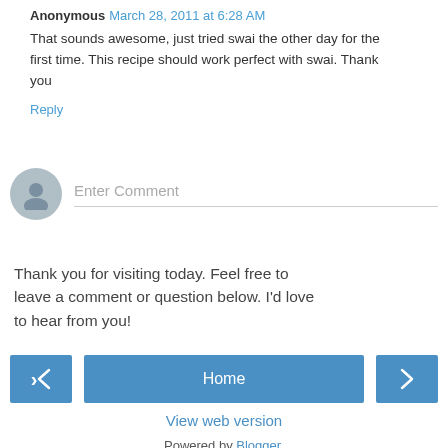Anonymous March 28, 2011 at 6:28 AM
That sounds awesome, just tried swai the other day for the first time. This recipe should work perfect with swai. Thank you
Reply
[Figure (illustration): Comment input area with avatar placeholder and 'Enter Comment' text field with underline]
Thank you for visiting today. Feel free to leave a comment or question below. I'd love to hear from you!
[Figure (infographic): Navigation buttons: left arrow, Home button, right arrow]
View web version
Powered by Blogger.